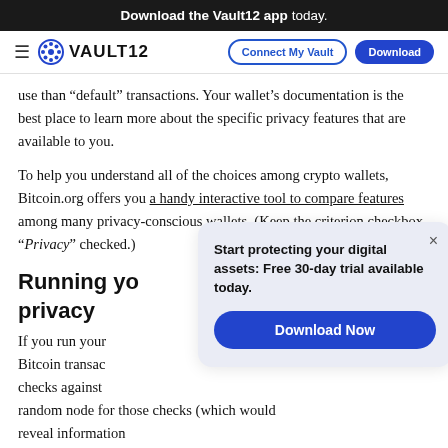Download the Vault12 app today.
VAULT12 | Connect My Vault | Download
use than "default" transactions. Your wallet's documentation is the best place to learn more about the specific privacy features that are available to you.
To help you understand all of the choices among crypto wallets, Bitcoin.org offers you a handy interactive tool to compare features among many privacy-conscious wallets. (Keep the criterion checkbox "Privacy" checked.)
Running yo… privacy
If you run your… Bitcoin transac… checks against… random node for those checks (which would reveal information
[Figure (infographic): Popup CTA box with text 'Start protecting your digital assets: Free 30-day trial available today.' and a 'Download Now' blue button, with an X close button in top right.]